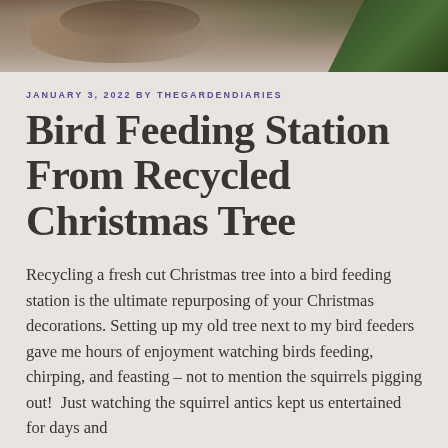[Figure (photo): Close-up photo of an animal (likely a squirrel) with fur visible, pine/Christmas tree branches with needles visible on the right side. Dark earthy tones.]
JANUARY 3, 2022 BY THEGARDENDIARIES
Bird Feeding Station From Recycled Christmas Tree
Recycling a fresh cut Christmas tree into a bird feeding station is the ultimate repurposing of your Christmas decorations. Setting up my old tree next to my bird feeders gave me hours of enjoyment watching birds feeding, chirping, and feasting – not to mention the squirrels pigging out!  Just watching the squirrel antics kept us entertained for days and